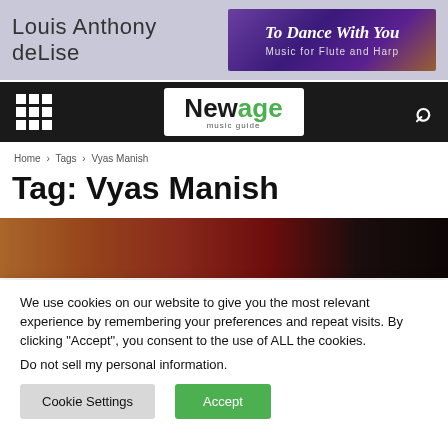Louis Anthony deLise | To Dance With You – Music for Flute and Harp
[Figure (screenshot): Website navigation bar with grid menu icon, New Age Music Guide logo, and search icon on black background]
Home › Tags › Vyas Manish
Tag: Vyas Manish
[Figure (photo): Partial image strip showing warm toned background image]
We use cookies on our website to give you the most relevant experience by remembering your preferences and repeat visits. By clicking "Accept", you consent to the use of ALL the cookies.
Do not sell my personal information.
Cookie Settings | Accept